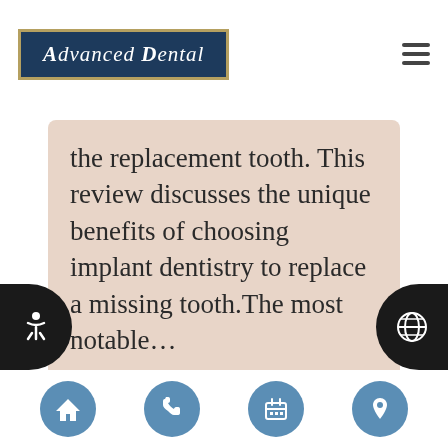Advanced Dental
the replacement tooth. This review discusses the unique benefits of choosing implant dentistry to replace a missing tooth.The most notable…
401 Windsor Hwy
New Windsor, NY 12553
[Figure (infographic): Get Directions button (blue rounded rectangle)]
[Figure (infographic): Bottom navigation bar with four blue circle icons: home, phone, calendar, location pin]